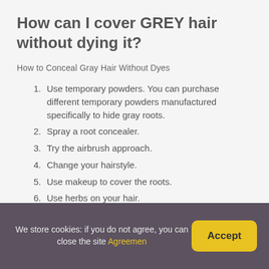How can I cover GREY hair without dying it?
How to Conceal Gray Hair Without Dyes
Use temporary powders. You can purchase different temporary powders manufactured specifically to hide gray roots.
Spray a root concealer.
Try the airbrush approach.
Change your hairstyle.
Use makeup to cover the roots.
Use herbs on your hair.
We store cookies: if you do not agree, you can close the site Agreement